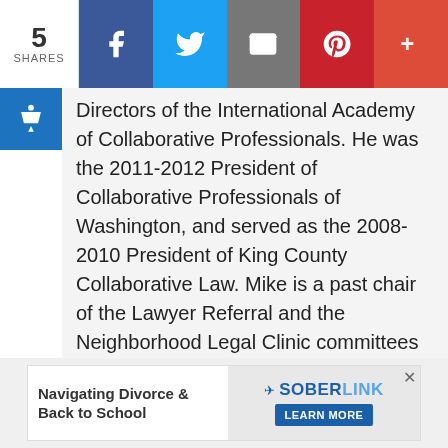5 SHARES | Facebook | Twitter | Email | Pinterest | More
Directors of the International Academy of Collaborative Professionals. He was the 2011-2012 President of Collaborative Professionals of Washington, and served as the 2008-2010 President of King County Collaborative Law. Mike is a past chair of the Lawyer Referral and the Neighborhood Legal Clinic committees of the King County Bar Association. He has been a speaker at numerous public forums on family law and continuing legal education seminars for attorneys.
[Figure (infographic): Advertisement banner: Navigating Divorce & Back to School with SOBERLINK logo and LEARN MORE button]